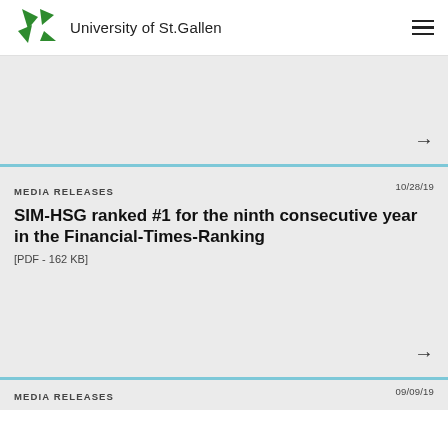University of St.Gallen
MEDIA RELEASES   10/28/19
SIM-HSG ranked #1 for the ninth consecutive year in the Financial-Times-Ranking
[PDF - 162 KB]
MEDIA RELEASES   09/09/19